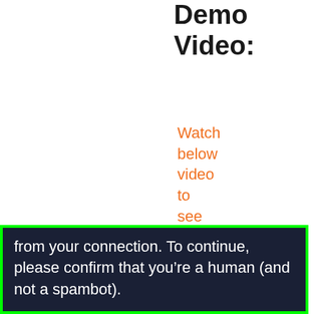Demo Video:
Watch below video to see ADA Leadz in action:
[Figure (screenshot): Dark navy background box with green border showing a CAPTCHA/bot-check message: 'from your connection. To continue, please confirm that you’re a human (and not a spambot).']